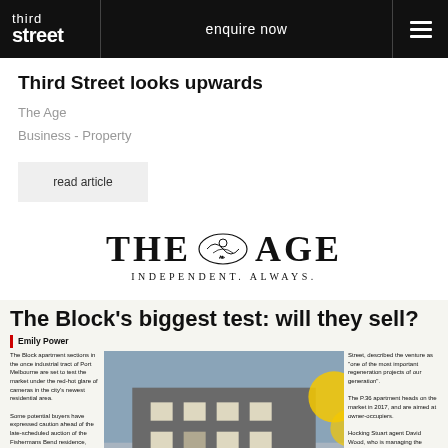third street | enquire now | ☰
Third Street looks upwards
The Age
Business - Property
read article
[Figure (logo): The Age newspaper masthead logo with crest, reading 'THE AGE — Independent. Always.']
[Figure (screenshot): Newspaper clipping from The Age with headline 'The Block's biggest test: will they sell?' by Emily Power, showing article text columns and a photo of a building with DAN CARLEEN sign]